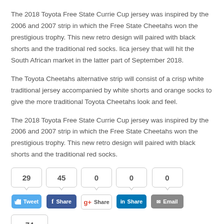The 2018 Toyota Free State Currie Cup jersey was inspired by the 2006 and 2007 strip in which the Free State Cheetahs won the prestigious trophy. This new retro design will paired with black shorts and the traditional red socks. lica jersey that will hit the South African market in the latter part of September 2018.
The Toyota Cheetahs alternative strip will consist of a crisp white traditional jersey accompanied by white shorts and orange socks to give the more traditional Toyota Cheetahs look and feel.
The 2018 Toyota Free State Currie Cup jersey was inspired by the 2006 and 2007 strip in which the Free State Cheetahs won the prestigious trophy. This new retro design will paired with black shorts and the traditional red socks.
[Figure (infographic): Social share buttons with counts: Twitter (29, Tweet), Facebook (45, Share), Google+ (0, Share), LinkedIn (0, Share), Email (0, Email), and a bottom count box showing 74 with a green button below.]